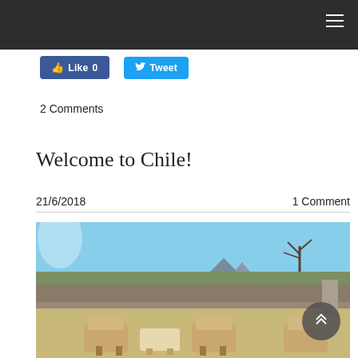Like 0   Tweet
2 Comments
Welcome to Chile!
21/6/2018   1 Comment
[Figure (photo): Outdoor desert landscape with patio furniture (wicker chairs and a table), a stone wall, sparse trees and shrubs, mountains in the background under a clear blue sky.]